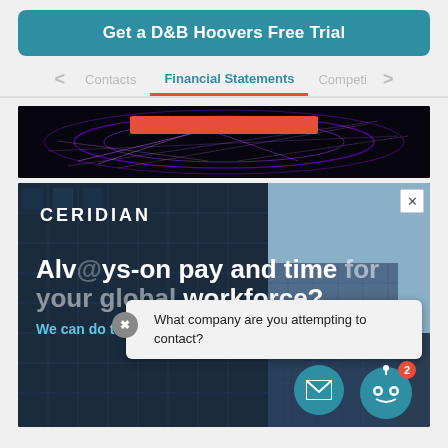Get a D&B Hoovers Free Trial
< Contacts  |  Financial Statements  |  Competi >
[Figure (photo): Dark advertisement banner with purple/violet laser light streaks on black background with a red bar element in the center top area]
[Figure (photo): Ceridian advertisement banner showing a glass office building background with text: CERIDIAN, Always-on pay and time for your global workforce?, We can do that. A chatbot popup overlay asking 'What company are you attempting to contact?' with email button and robot chat icon with notification badge showing 2.]